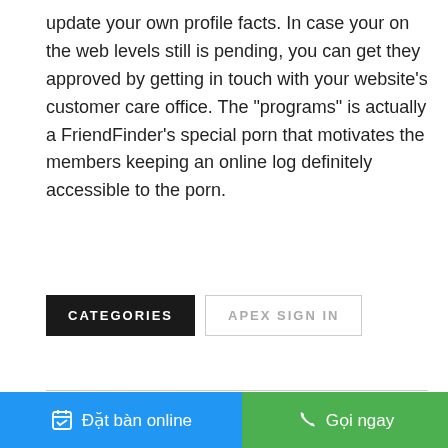update your own profile facts. In case your on the web levels still is pending, you can get they approved by getting in touch with your website's customer care office. The “programs” is actually a FriendFinder’s special porn that motivates the members keeping an online log definitely accessible to the porn.
CATEGORIES
APEX SIGN IN
Đặt bàn online
Gọi ngay